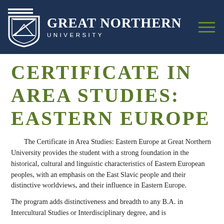Great Northern University
CERTIFICATE IN AREA STUDIES: EASTERN EUROPE
The Certificate in Area Studies: Eastern Europe at Great Northern University provides the student with a strong foundation in the historical, cultural and linguistic characteristics of Eastern European peoples, with an emphasis on the East Slavic people and their distinctive worldviews, and their influence in Eastern Europe.
The program adds distinctiveness and breadth to any B.A. in Intercultural Studies or Interdisciplinary degree, and is